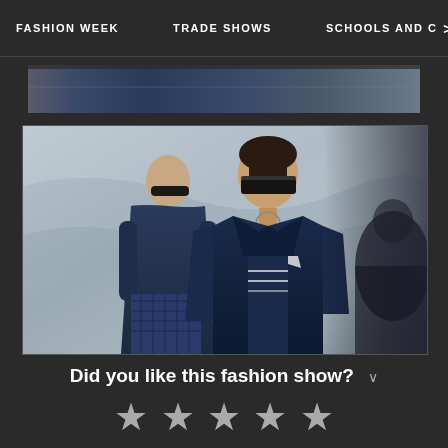FASHION WEEK   TRADE SHOWS   SCHOOLS AND C >
[Figure (photo): Partial top strip of a fashion runway show photo]
[Figure (photo): Two male models walking a fashion runway wearing dark navy outfits and sunglasses, with a stone/marble-textured background and audience visible on the right]
Did you like this fashion show? ˅
★ ★ ★ ★ ★